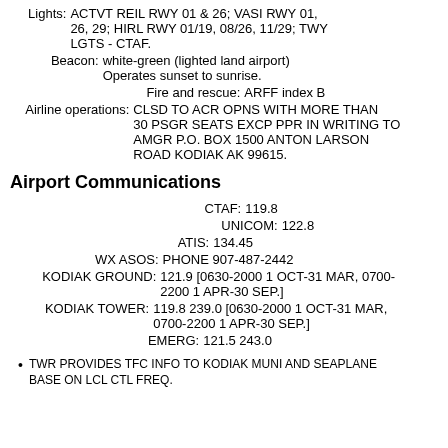Lights: ACTVT REIL RWY 01 & 26; VASI RWY 01, 26, 29; HIRL RWY 01/19, 08/26, 11/29; TWY LGTS - CTAF.
Beacon: white-green (lighted land airport) Operates sunset to sunrise.
Fire and rescue: ARFF index B
Airline operations: CLSD TO ACR OPNS WITH MORE THAN 30 PSGR SEATS EXCP PPR IN WRITING TO AMGR P.O. BOX 1500 ANTON LARSON ROAD KODIAK AK 99615.
Airport Communications
CTAF: 119.8
UNICOM: 122.8
ATIS: 134.45
WX ASOS: PHONE 907-487-2442
KODIAK GROUND: 121.9 [0630-2000 1 OCT-31 MAR, 0700-2200 1 APR-30 SEP.]
KODIAK TOWER: 119.8 239.0 [0630-2000 1 OCT-31 MAR, 0700-2200 1 APR-30 SEP.]
EMERG: 121.5 243.0
TWR PROVIDES TFC INFO TO KODIAK MUNI AND SEAPLANE BASE ON LCL CTL FREQ.